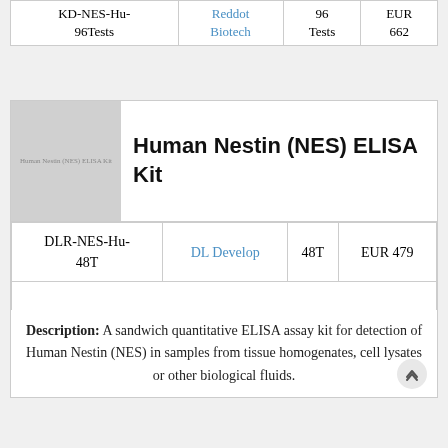| Product | Supplier | Quantity | Price |
| --- | --- | --- | --- |
| KD-NES-Hu-96Tests | Reddot Biotech | 96 Tests | EUR 662 |
[Figure (photo): Product image placeholder for Human Nestin (NES) ELISA Kit]
Human Nestin (NES) ELISA Kit
| Product ID | Supplier | Quantity | Price |
| --- | --- | --- | --- |
| DLR-NES-Hu-48T | DL Develop | 48T | EUR 479 |
Description: A sandwich quantitative ELISA assay kit for detection of Human Nestin (NES) in samples from tissue homogenates, cell lysates or other biological fluids.